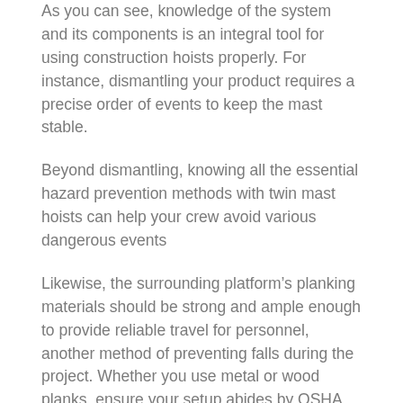As you can see, knowledge of the system and its components is an integral tool for using construction hoists properly. For instance, dismantling your product requires a precise order of events to keep the mast stable.
Beyond dismantling, knowing all the essential hazard prevention methods with twin mast hoists can help your crew avoid various dangerous events
Likewise, the surrounding platform’s planking materials should be strong and ample enough to provide reliable travel for personnel, another method of preventing falls during the project. Whether you use metal or wood planks, ensure your setup abides by OSHA guidelines.
If you follow these guidelines, you can avoid dangerous accidents and hefty fines. As you’ll learn below, there is one more task critical to your safety standards: routine maintenance.